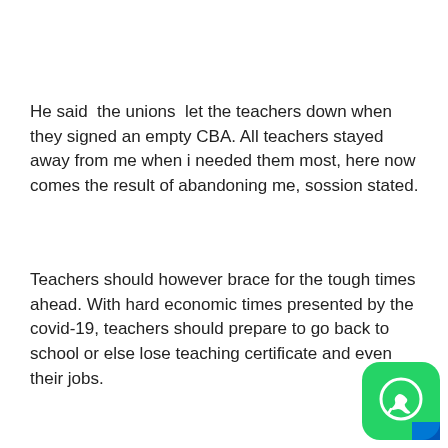He said  the unions  let the teachers down when they signed an empty CBA. All teachers stayed away from me when i needed them most, here now comes the result of abandoning me, sossion stated.
Teachers should however brace for the tough times ahead. With hard economic times presented by the covid-19, teachers should prepare to go back to school or else lose teaching certificate and even their jobs.
[Figure (logo): WhatsApp logo icon — green rounded square with white phone/chat symbol, blue rectangle in bottom-right corner]